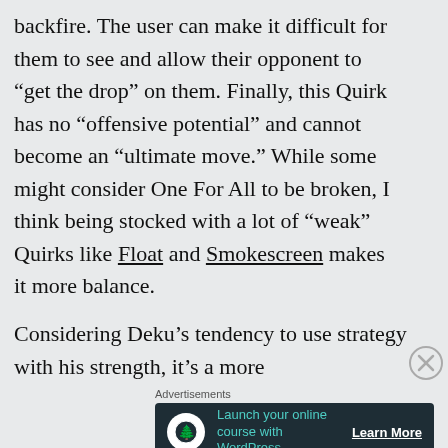backfire. The user can make it difficult for them to see and allow their opponent to “get the drop” on them. Finally, this Quirk has no “offensive potential” and cannot become an “ultimate move.” While some might consider One For All to be broken, I think being stocked with a lot of “weak” Quirks like Float and Smokescreen makes it more balance.
Considering Deku’s tendency to use strategy with his strength, it’s a more
Advertisements
[Figure (other): Advertisement banner for WordPress online course with dark background, tree icon, teal text 'Launch your online course with WordPress' and 'Learn More' CTA button]